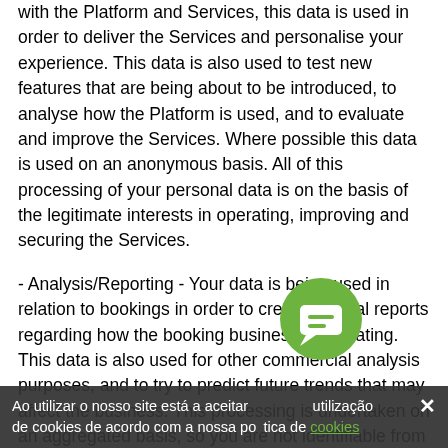with the Platform and Services, this data is used in order to deliver the Services and personalise your experience. This data is also used to test new features that are being about to be introduced, to analyse how the Platform is used, and to evaluate and improve the Services. Where possible this data is used on an anonymous basis. All of this processing of your personal data is on the basis of the legitimate interests in operating, improving and securing the Services.
- Analysis/Reporting - Your data is being used in relation to bookings in order to create internal reports regarding how the booking business is operating. This data is also used for other commercial analysis purposes, and to try to predict future trends that may affect the business. This processing is undertaken on an aggregated basis, so you are not identifiable from the reports or analysis that is produced.
- Advertising – In order to ensure that you see a Cars Scanner advert it will be relevant to you and your interests
Ao utilizar o nosso site está a aceitar a utilização de cookies de acordo com a nossa política de cookies